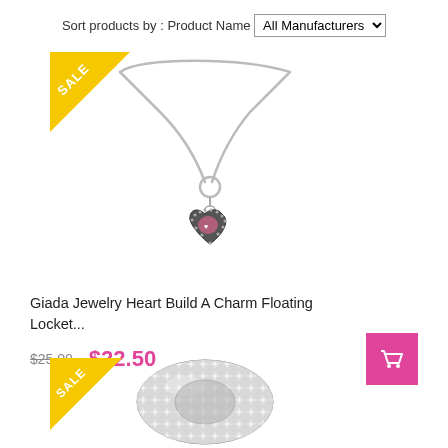Sort products by : Product Name  All Manufacturers
[Figure (photo): Giada Jewelry heart-shaped floating locket necklace on a silver chain, with pink crystal charm, with a yellow SALE badge in the top-left corner]
Giada Jewelry Heart Build A Charm Floating Locket...
$25.00  $22.50
[Figure (photo): A wide silver crystal/rhinestone stretch ring or cuff, with a yellow SALE badge in the top-left corner]